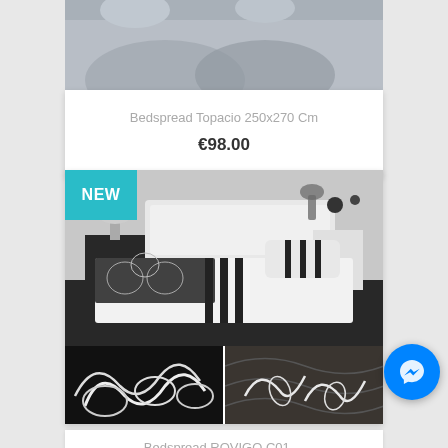[Figure (photo): Top portion of a product card showing a bedspread photo (partially cropped at top of page)]
Bedspread Topacio 250x270 Cm
€98.00
[Figure (photo): Product photo of Bedspread ROVIGO C01 on a bed in a modern bedroom, with NEW badge in teal, and two close-up thumbnail images below]
Bedspread ROVIGO C01,...
€...
[Figure (other): Facebook Messenger chat button (blue circle with lightning bolt icon)]